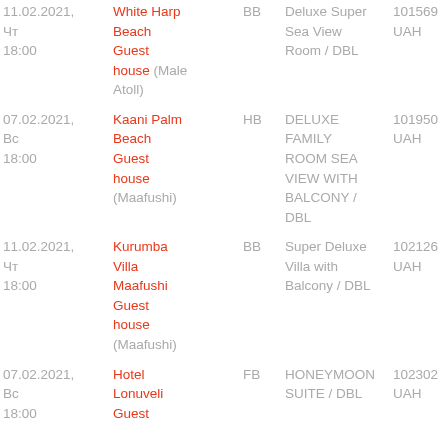| Date | Hotel | Meal | Room | Price |
| --- | --- | --- | --- | --- |
| 11.02.2021, Чт
18:00 | White Harp Beach Guest house (Male Atoll) | BB | Deluxe Super Sea View Room / DBL | 101569 UAH |
| 07.02.2021, Вс
18:00 | Kaani Palm Beach Guest house (Maafushi) | HB | DELUXE FAMILY ROOM SEA VIEW WITH BALCONY / DBL | 101950 UAH |
| 11.02.2021, Чт
18:00 | Kurumba Villa Maafushi Guest house (Maafushi) | BB | Super Deluxe Villa with Balcony / DBL | 102126 UAH |
| 07.02.2021, Вс
18:00 | Hotel Lonuveli Guest house | FB | HONEYMOON SUITE / DBL | 102302 UAH |